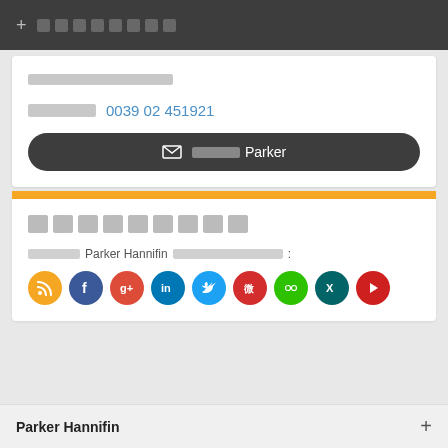+ [redacted]
[redacted label row]
[redacted] 0039 02 451921
✉ [redacted] Parker
[redacted section title]
[redacted] Parker Hannifin [redacted]:
[Figure (infographic): Row of social media icons: RSS (orange), Facebook (blue), Google+ (red), LinkedIn (blue), Twitter (light blue), Weibo (red), WeChat (green), Xing (teal), YouTube (red)]
Parker Hannifin +